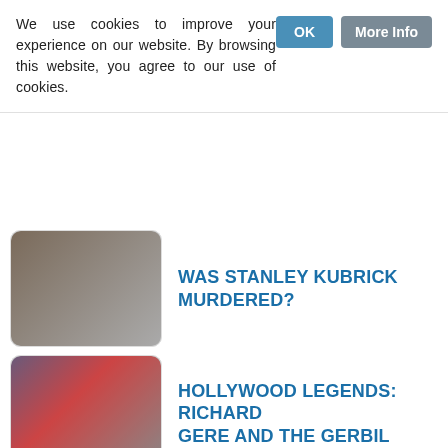We use cookies to improve your experience on our website. By browsing this website, you agree to our use of cookies.
WAS STANLEY KUBRICK MURDERED?
HOLLYWOOD LEGENDS: RICHARD GERE AND THE GERBIL
SHARON STONE'S VAGINA IS REMASTERED BY THE BFI
5 FACTS YOU NEVER KNEW ABOUT DEMI MOORE
TERRENCE MALICK TALKS HATS